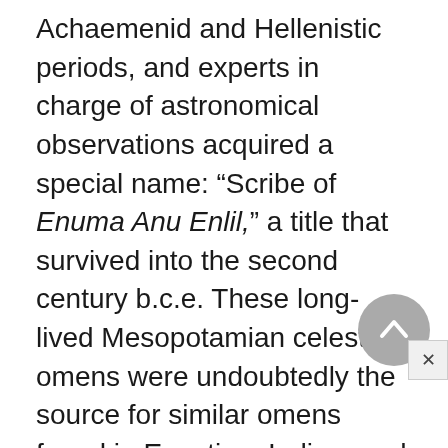Achaemenid and Hellenistic periods, and experts in charge of astronomical observations acquired a special name: “Scribe of Enuma Anu Enlil,” a title that survived into the second century b.c.e. These long-lived Mesopotamian celestial omens were undoubtedly the source for similar omens found in Egyptian, Indian, and Greek sources. From Egypt, there is a demotic papyrus preserving two Achaemenid texts that include counterparts to Babylonian examples. Babyloni...